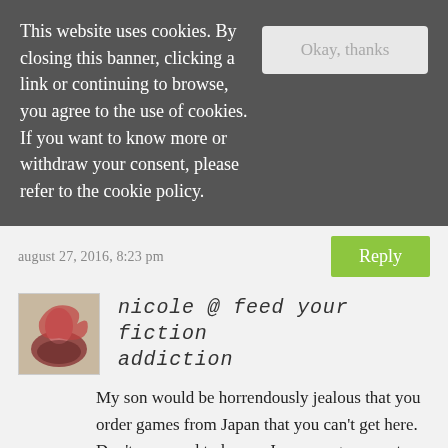This website uses cookies. By closing this banner, clicking a link or continuing to browse, you agree to the use of cookies. If you want to know more or withdraw your consent, please refer to the cookie policy.
Okay, thanks
august 27, 2016, 8:23 pm
Reply
nicole @ feed your fiction addiction
My son would be horrendously jealous that you order games from Japan that you can't get here. Don't you need to have a Japanese game system to play them?
I can give you lots of online resources for game platform designing classes and stuff like that if you're interested. For instance, my son has done